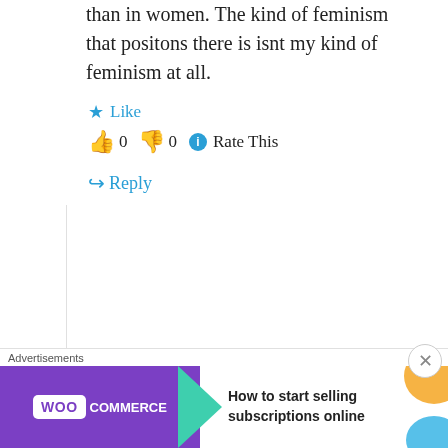than in women. The kind of feminism that positons there is isnt my kind of feminism at all.
★ Like
👍 0 👎 0 ℹ Rate This
↪ Reply
TitforTat
Advertisements
[Figure (screenshot): WooCommerce advertisement banner: 'How to start selling subscriptions online']